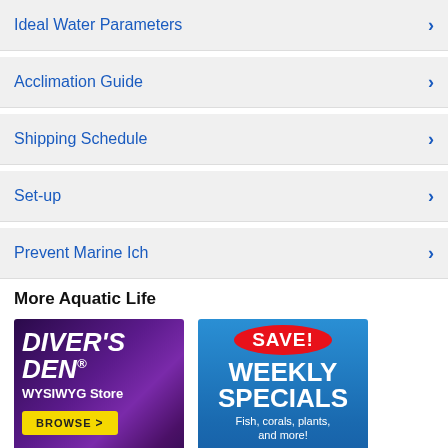Ideal Water Parameters
Acclimation Guide
Shipping Schedule
Set-up
Prevent Marine Ich
More Aquatic Life
[Figure (illustration): Diver's Den WYSIWYG Store ad with purple coral background, white bold italic text reading DIVER'S DEN® WYSIWYG Store, and yellow BROWSE button]
Diver's Den® WYSIWYG
[Figure (illustration): Weekly Specials ad on blue gradient background with red SAVE! oval, white bold WEEKLY SPECIALS text, subtitle Fish, corals, plants, and more!, and red SAVE NOW! button]
Weekly Specials